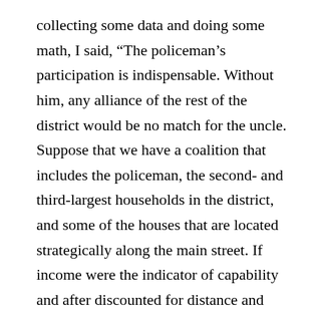collecting some data and doing some math, I said, “The policeman’s participation is indispensable. Without him, any alliance of the rest of the district would be no match for the uncle. Suppose that we have a coalition that includes the policeman, the second- and third-largest households in the district, and some of the houses that are located strategically along the main street. If income were the indicator of capability and after discounted for distance and other concerns, the combined capabilities of this coalition would beat that of the uncle by a ratio of about 1.7 to 1. This ratio is likely to improve for the uncle in the next decade, as his income